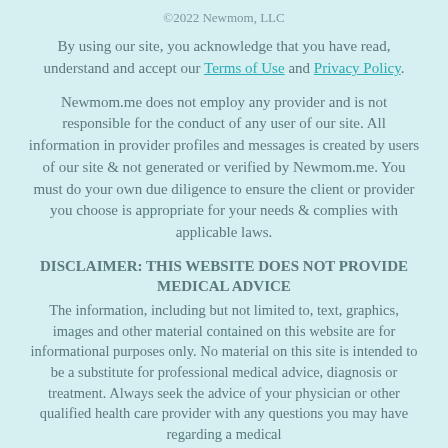©2022 Newmom, LLC
By using our site, you acknowledge that you have read, understand and accept our Terms of Use and Privacy Policy.
Newmom.me does not employ any provider and is not responsible for the conduct of any user of our site. All information in provider profiles and messages is created by users of our site & not generated or verified by Newmom.me. You must do your own due diligence to ensure the client or provider you choose is appropriate for your needs & complies with applicable laws.
DISCLAIMER: THIS WEBSITE DOES NOT PROVIDE MEDICAL ADVICE
The information, including but not limited to, text, graphics, images and other material contained on this website are for informational purposes only. No material on this site is intended to be a substitute for professional medical advice, diagnosis or treatment. Always seek the advice of your physician or other qualified health care provider with any questions you may have regarding a medical condition or treatment and before changing health decisions.